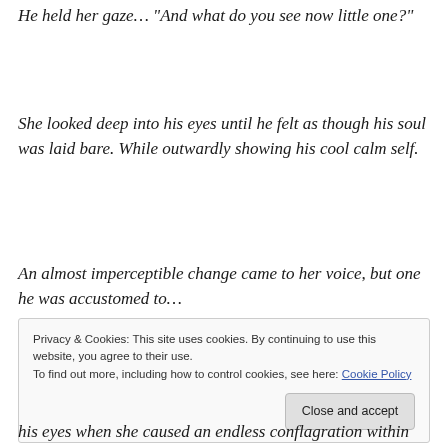He held her gaze… “And what do you see now little one?”
She looked deep into his eyes until he felt as though his soul was laid bare. While outwardly showing his cool calm self.
An almost imperceptible change came to her voice, but one he was accustomed to…
Privacy & Cookies: This site uses cookies. By continuing to use this website, you agree to their use.
To find out more, including how to control cookies, see here: Cookie Policy
his eyes when she caused an endless conflagration within